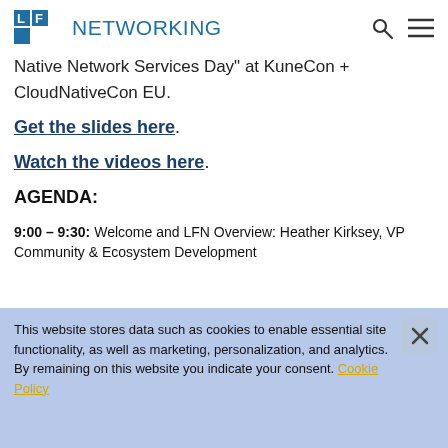LF NETWORKING
Native Network Services Day" at KuneCon + CloudNativeCon EU.
Get the slides here.
Watch the videos here.
AGENDA:
9:00 – 9:30: Welcome and LFN Overview: Heather Kirksey, VP Community & Ecosystem Development
This website stores data such as cookies to enable essential site functionality, as well as marketing, personalization, and analytics. By remaining on this website you indicate your consent. Cookie Policy